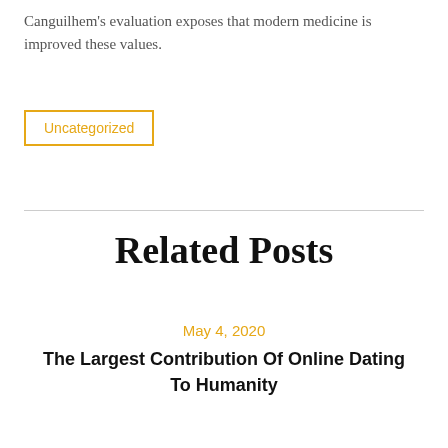Canguilhem's evaluation exposes that modern medicine is improved these values.
Uncategorized
Related Posts
May 4, 2020
The Largest Contribution Of Online Dating To Humanity